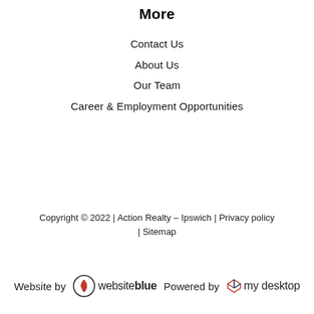More
Contact Us
About Us
Our Team
Career & Employment Opportunities
Copyright © 2022 | Action Realty – Ipswich | Privacy policy | Sitemap
Website by websiteblue Powered by mydesktop